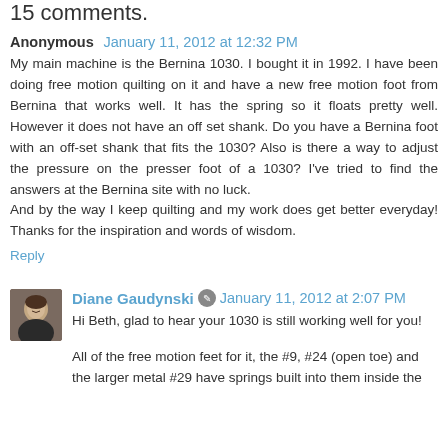15 comments.
Anonymous January 11, 2012 at 12:32 PM
My main machine is the Bernina 1030. I bought it in 1992. I have been doing free motion quilting on it and have a new free motion foot from Bernina that works well. It has the spring so it floats pretty well. However it does not have an off set shank. Do you have a Bernina foot with an off-set shank that fits the 1030? Also is there a way to adjust the pressure on the presser foot of a 1030? I've tried to find the answers at the Bernina site with no luck.
And by the way I keep quilting and my work does get better everyday! Thanks for the inspiration and words of wisdom.
Reply
Diane Gaudynski January 11, 2012 at 2:07 PM
Hi Beth, glad to hear your 1030 is still working well for you!
All of the free motion feet for it, the #9, #24 (open toe) and the larger metal #29 have springs built into them inside the